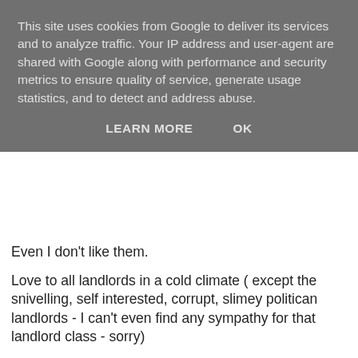This site uses cookies from Google to deliver its services and to analyze traffic. Your IP address and user-agent are shared with Google along with performance and security metrics to ensure quality of service, generate usage statistics, and to detect and address abuse.
LEARN MORE   OK
Even I don't like them.
Love to all landlords in a cold climate ( except the snivelling, self interested, corrupt, slimey politican landlords - I can't even find any sympathy for that landlord class - sorry)
Your darling Margo
Margo Leadbetter at 9:25 AM    No comments:
Share
Saturday, February 21, 2009
The World's Worst landlords